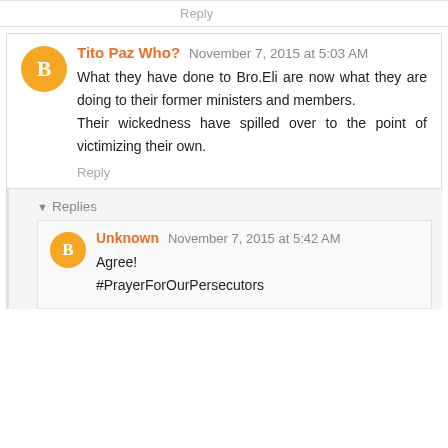Reply
Tito Paz Who? November 7, 2015 at 5:03 AM
What they have done to Bro.Eli are now what they are doing to their former ministers and members.
Their wickedness have spilled over to the point of victimizing their own.
Reply
▾ Replies
Unknown November 7, 2015 at 5:42 AM
Agree!
#PrayerForOurPersecutors